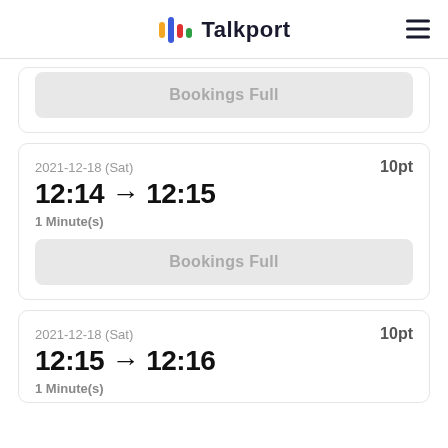Talkport
Bookings Full
2021-12-18 (Sat) | 10pt
12:14 → 12:15
1 Minute(s)
Bookings Full
2021-12-18 (Sat) | 10pt
12:15 → 12:16
1 Minute(s)